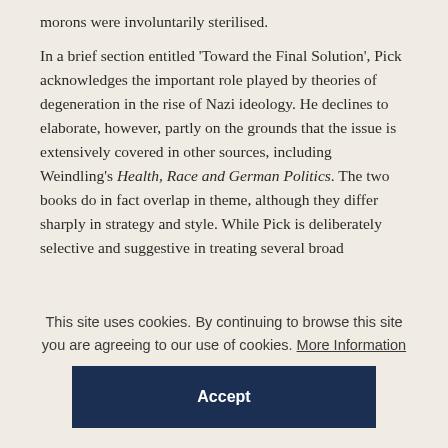morons were involuntarily sterilised.
In a brief section entitled 'Toward the Final Solution', Pick acknowledges the important role played by theories of degeneration in the rise of Nazi ideology. He declines to elaborate, however, partly on the grounds that the issue is extensively covered in other sources, including Weindling's Health, Race and German Politics. The two books do in fact overlap in theme, although they differ sharply in strategy and style. While Pick is deliberately selective and suggestive in treating several broad
This site uses cookies. By continuing to browse this site you are agreeing to our use of cookies. More Information
Accept